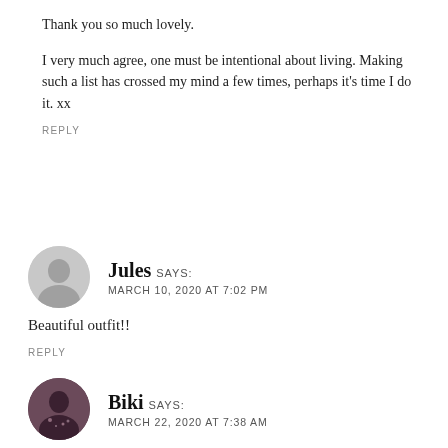Thank you so much lovely.

I very much agree, one must be intentional about living. Making such a list has crossed my mind a few times, perhaps it's time I do it. xx
REPLY
Jules SAYS:
MARCH 10, 2020 AT 7:02 PM
Beautiful outfit!!
REPLY
Biki SAYS:
MARCH 22, 2020 AT 7:38 AM